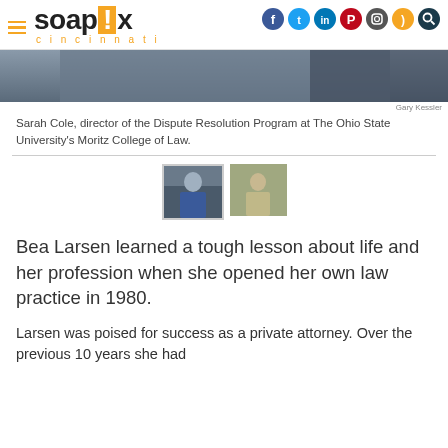soapbox cincinnati
[Figure (photo): Partial photo of a person, dark tones, cropped at top]
Gary Kessler
Sarah Cole, director of the Dispute Resolution Program at The Ohio State University's Moritz College of Law.
[Figure (photo): Two thumbnail images: first shows a person in blue against a building, second shows a person in light clothing]
Bea Larsen learned a tough lesson about life and her profession when she opened her own law practice in 1980.
Larsen was poised for success as a private attorney. Over the previous 10 years she had